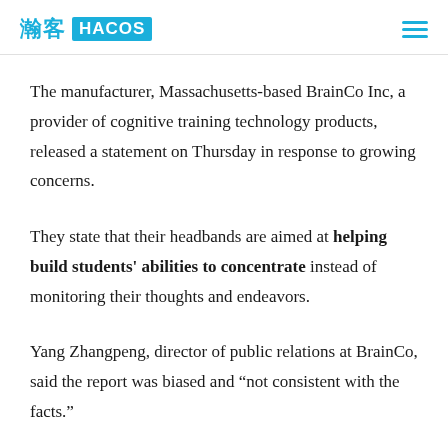瀚客 HACOS
The manufacturer, Massachusetts-based BrainCo Inc, a provider of cognitive training technology products, released a statement on Thursday in response to growing concerns.
They state that their headbands are aimed at helping build students' abilities to concentrate instead of monitoring their thoughts and endeavors.
Yang Zhangpeng, director of public relations at BrainCo, said the report was biased and “not consistent with the facts.”